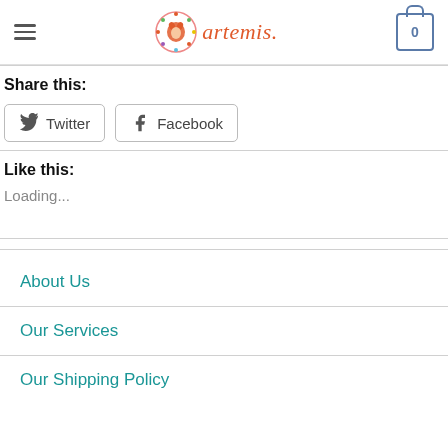artemis.
Share this:
Twitter
Facebook
Like this:
Loading...
About Us
Our Services
Our Shipping Policy